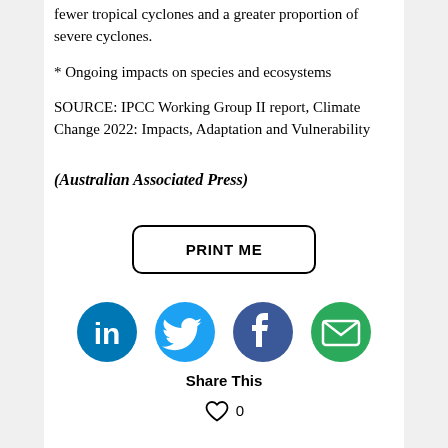fewer tropical cyclones and a greater proportion of severe cyclones.
* Ongoing impacts on species and ecosystems
SOURCE: IPCC Working Group II report, Climate Change 2022: Impacts, Adaptation and Vulnerability
(Australian Associated Press)
PRINT ME
[Figure (other): Social media share icons: LinkedIn, Twitter, Facebook, and email]
Share This
0